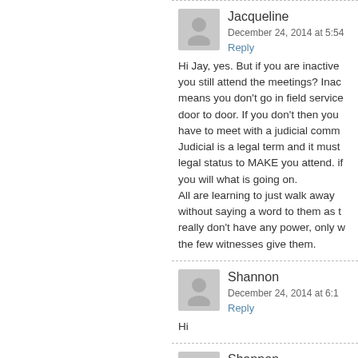Jacqueline
December 24, 2014 at 5:54
Reply
Hi Jay, yes. But if you are inactive you still attend the meetings? Inac means you don't go in field service door to door. If you don't then you have to meet with a judicial comm Judicial is a legal term and it must legal status to MAKE you attend. if you will what is going on.
All are learning to just walk away without saying a word to them as t really don't have any power, only w the few witnesses give them.
Shannon
December 24, 2014 at 6:1
Reply
Hi
Shannon
December 24, 2014 at 6:1